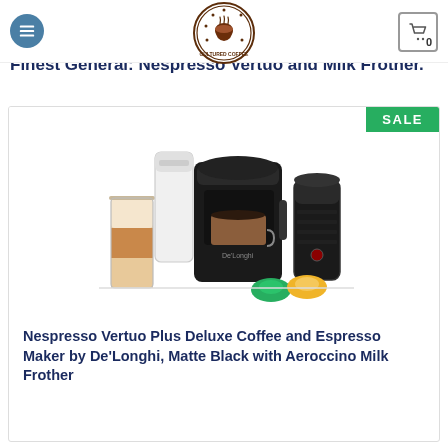Cultured Coffee (logo)
Finest General: Nespresso Vertuo and Milk Frother.
[Figure (photo): Nespresso Vertuo Plus Deluxe coffee machine in matte black with a tall white capsule container, a glass of latte, a mug of espresso on the machine, an Aeroccino milk frother, and two Nespresso capsules (green and gold) in the foreground. A green SALE badge is shown in the top-right corner of the product card.]
Nespresso Vertuo Plus Deluxe Coffee and Espresso Maker by De'Longhi, Matte Black with Aeroccino Milk Frother